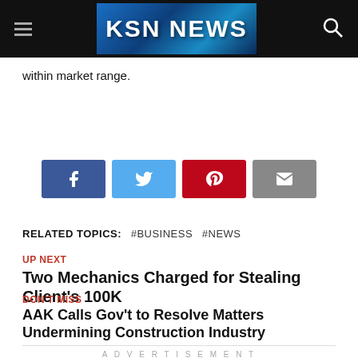KSN NEWS
within market range.
[Figure (infographic): Social share buttons: Facebook (blue), Twitter (light blue), Pinterest (red), Email (gray)]
RELATED TOPICS: #BUSINESS #NEWS
UP NEXT
Two Mechanics Charged for Stealing Client's 100K
DON'T MISS
AAK Calls Gov't to Resolve Matters Undermining Construction Industry
ADVERTISEMENT